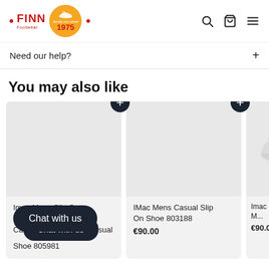FINN Footwear · family run since 1975
Need our help?
You may also like
[Figure (photo): Product card: Imac Mens Slip On Casual Shoe 805981 - empty product image placeholder with + button]
Imac Mens Slip On Casual Shoe 805981
[Figure (photo): Product card: IMac Mens Casual Slip On Shoe 803188 - empty product image placeholder with + button]
IMac Mens Casual Slip On Shoe 803188
€90.00
[Figure (photo): Product card: Imac Mens Shoe 8... - partially visible with shoe image]
Imac M... Shoe 8...
€90.0...
Chat with us